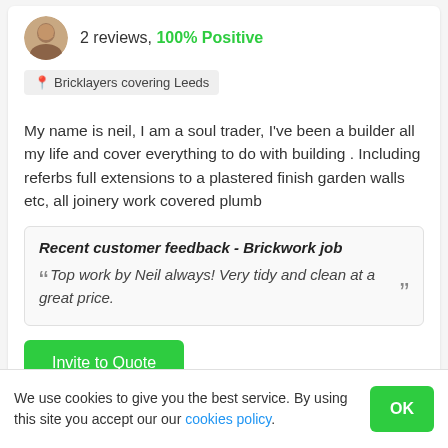2 reviews, 100% Positive
Bricklayers covering Leeds
My name is neil, I am a soul trader, I've been a builder all my life and cover everything to do with building . Including referbs full extensions to a plastered finish garden walls etc, all joinery work covered plumb
Recent customer feedback - Brickwork job
“Top work by Neil always! Very tidy and clean at a great price.”
Invite to Quote
We use cookies to give you the best service. By using this site you accept our our cookies policy.